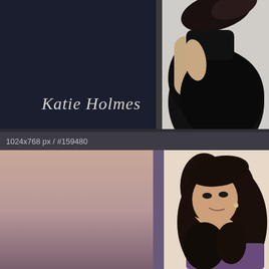[Figure (photo): Top panel: a woman in a black top photographed from behind/side against a dark navy background, with 'Katie Holmes' text overlay in italic serif font on the dark left portion]
[Figure (photo): Bottom panel: a woman with dark curly hair smiling at camera, wearing a purple top, photographed against a warm pink/brown blurred background. Panel header shows '1024x768 px / #159480' in gray text bar at top]